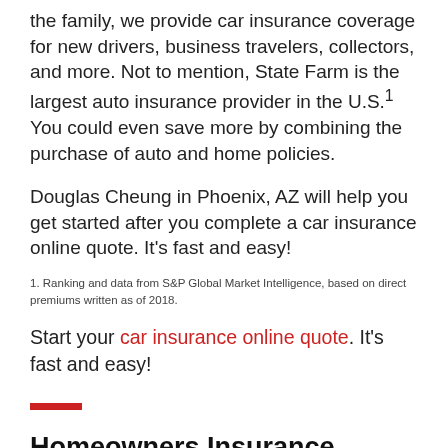the family, we provide car insurance coverage for new drivers, business travelers, collectors, and more. Not to mention, State Farm is the largest auto insurance provider in the U.S.¹ You could even save more by combining the purchase of auto and home policies.
Douglas Cheung in Phoenix, AZ will help you get started after you complete a car insurance online quote. It's fast and easy!
1. Ranking and data from S&P Global Market Intelligence, based on direct premiums written as of 2018.
Start your car insurance online quote. It's fast and easy!
Homeowners Insurance
Protect your largest investment from unexpected